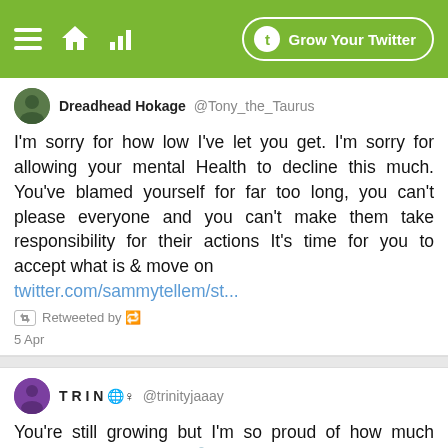[Figure (screenshot): Green navigation bar with hamburger menu, home icon, signal icon, and 'Grow Your Twitter' button]
Dreadhead Hokage @Tony_the_Taurus
I'm sorry for how low I've let you get. I'm sorry for allowing your mental Health to decline this much. You've blamed yourself for far too long, you can't please everyone and you can't make them take responsibility for their actions It's time for you to accept what is & move on twitter.com/sammytellem/st...
Retweeted by 🔁
5 Apr
T R I N 🌐♀ @trinityjaaay
You're still growing but I'm so proud of how much you've accomplished. 🔗twitter.com/sammyt... B